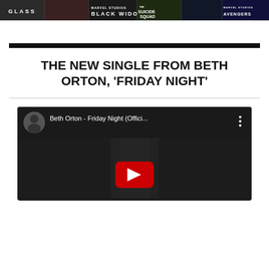[Figure (screenshot): Horizontal banner strip showing movie posters: GLASS, Ant-Man, BLACK WIDOW, THE SUICIDE SQUAD, unknown title, AVENGERS]
THE NEW SINGLE FROM BETH ORTON, ‘FRIDAY NIGHT’
[Figure (screenshot): YouTube video embed showing Beth Orton - Friday Night (Offici... with channel avatar, title, three-dot menu, and red play button over dark thumbnail]